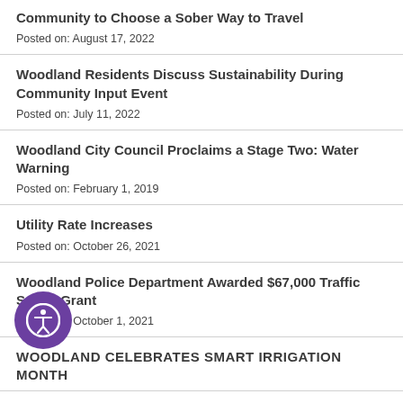Community to Choose a Sober Way to Travel
Posted on: August 17, 2022
Woodland Residents Discuss Sustainability During Community Input Event
Posted on: July 11, 2022
Woodland City Council Proclaims a Stage Two: Water Warning
Posted on: February 1, 2019
Utility Rate Increases
Posted on: October 26, 2021
Woodland Police Department Awarded $67,000 Traffic Safety Grant
Posted on: October 1, 2021
WOODLAND CELEBRATES SMART IRRIGATION MONTH